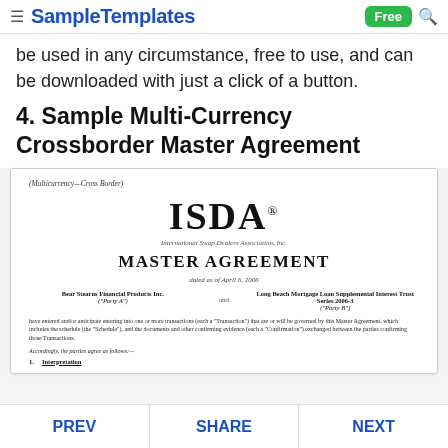SampleTemplates — Free
be used in any circumstance, free to use, and can be downloaded with just a click of a button.
4. Sample Multi-Currency Crossborder Master Agreement
[Figure (screenshot): Preview of an ISDA Multicurrency–Cross Border Master Agreement document dated April 6, 2006, between Bear Stearns Financial Products Inc. (Party A) and Long Beach Mortgage Loan Supplemental Interest Trust Series 2006-3 (Party B), showing ISDA logo, 'MASTER AGREEMENT' heading, parties, and opening text.]
PREV   SHARE   NEXT